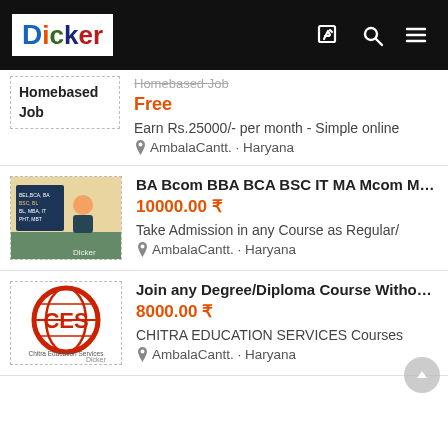DICKER
Homebased Job | Homebased Job | Free | Earn Rs.25000/- per month - Simple online | AmbalaCantt. · Haryana
BA Bcom BBA BCA BSC IT MA Mcom M... | 10000.00 ₹ | Take Admission in any Course as Regular/ | AmbalaCantt. · Haryana
Join any Degree/Diploma Course Withou... | 8000.00 ₹ | CHITRA EDUCATION SERVICES Courses | AmbalaCantt. · Haryana